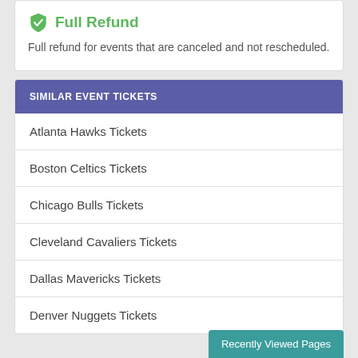Full Refund
Full refund for events that are canceled and not rescheduled.
SIMILAR EVENT TICKETS
Atlanta Hawks Tickets
Boston Celtics Tickets
Chicago Bulls Tickets
Cleveland Cavaliers Tickets
Dallas Mavericks Tickets
Denver Nuggets Tickets
Recently Viewed Pages